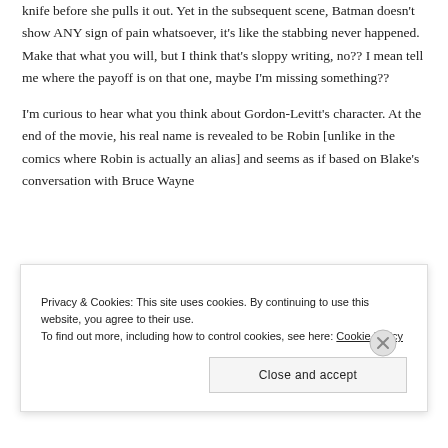knife before she pulls it out. Yet in the subsequent scene, Batman doesn't show ANY sign of pain whatsoever, it's like the stabbing never happened. Make that what you will, but I think that's sloppy writing, no?? I mean tell me where the payoff is on that one, maybe I'm missing something??
I'm curious to hear what you think about Gordon-Levitt's character. At the end of the movie, his real name is revealed to be Robin [unlike in the comics where Robin is actually an alias] and seems as if based on Blake's conversation with Bruce Wayne
Privacy & Cookies: This site uses cookies. By continuing to use this website, you agree to their use.
To find out more, including how to control cookies, see here: Cookie Policy